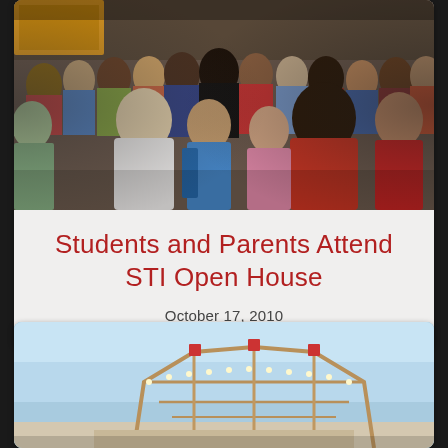[Figure (photo): Crowded indoor event with many students, parents, and community members at what appears to be a school open house or fair. Dense crowd of people, blurred/motion effect, colorful clothing visible.]
Students and Parents Attend STI Open House
October 17, 2010
[Figure (photo): Outdoor scene with blue sky and what appears to be a carnival ride or fairground structure with lights and metal framework visible.]